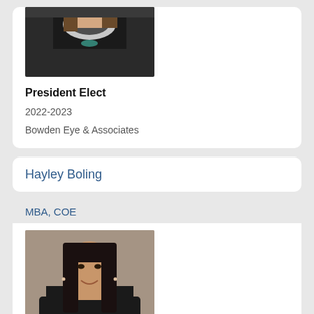[Figure (photo): Portrait photo of a woman in dark jacket with patterned collar, partial view cropped at top]
President Elect
2022-2023
Bowden Eye & Associates
Hayley Boling
MBA, COE
[Figure (photo): Portrait photo of a woman with dark hair, smiling, wearing dark jacket, brown background]